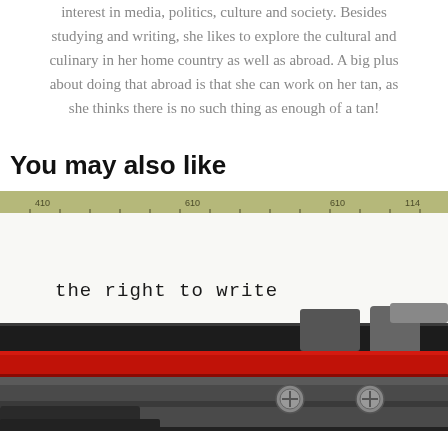interest in media, politics, culture and society. Besides studying and writing, she likes to explore the cultural and culinary in her home country as well as abroad. A big plus about doing that abroad is that she can work on her tan, as she thinks there is no such thing as enough of a tan!
You may also like
[Figure (photo): Close-up photograph of a vintage typewriter with paper showing the text 'the right to write'. The typewriter has a ruler/guide at the top, a red ribbon visible, and mechanical keys at the bottom.]